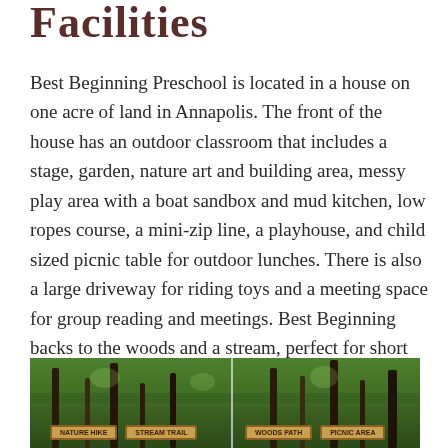Facilities
Best Beginning Preschool is located in a house on one acre of land in Annapolis. The front of the house has an outdoor classroom that includes a stage, garden, nature art and building area, messy play area with a boat sandbox and mud kitchen, low ropes course, a mini-zip line, a playhouse, and child sized picnic table for outdoor lunches. There is also a large driveway for riding toys and a meeting space for group reading and meetings. Best Beginning backs to the woods and a stream, perfect for short hikes and stream studies. There is a local playground in hiking distance, which we use for outdoor play and picnics.
[Figure (photo): Outdoor wooded area with trees and wooden signs at the base, likely showing trail or nature area signage at a preschool or park. Two-panel photo of forested outdoor space.]